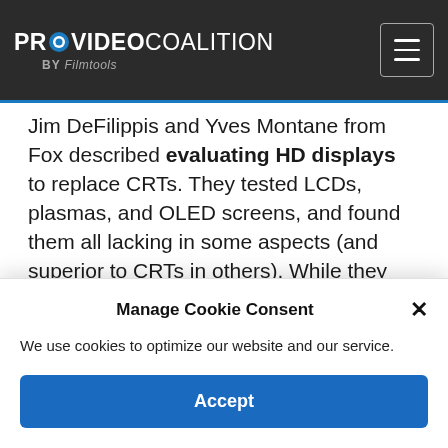PROVIDEO COALITION BY Filmtools
Jim DeFilippis and Yves Montane from Fox described evaluating HD displays to replace CRTs. They tested LCDs, plasmas, and OLED screens, and found them all lacking in some aspects (and superior to CRTs in others). While they aren't yet satisfied with CRT alternatives, they found a couple of LCDs they'll make do with until something better comes along (and no, they didn't say which LCDs they chose: go
Manage Cookie Consent
We use cookies to optimize our website and our service.
Accept